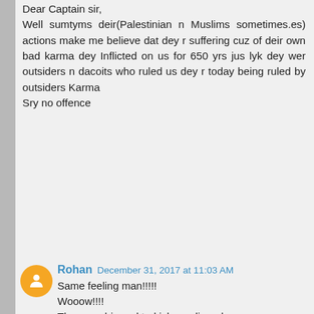Dear Captain sir,
Well sumtyms deir(Palestinian n Muslims sometimes.es) actions make me believe dat dey r suffering cuz of deir own bad karma dey Inflicted on us for 650 yrs jus lyk dey wer outsiders n dacoits who ruled us dey r today being ruled by outsiders Karma
Sry no offence
Rohan  December 31, 2017 at 11:03 AM
Same feeling man!!!!!
Wooow!!!!
These arabic and turkish muslim rulers were very cruel to us!!!!
God is punishing them!!!!!
abcindiagogo  December 31, 2017 at 3:54 PM
When the Muslims were ruling India, the harrased and persecuted us Native Indians who were Hindus.